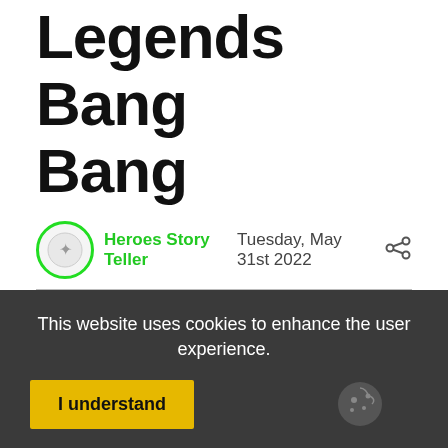Legends Bang Bang
Heroes Story Teller  Tuesday, May 31st 2022
Legends say, the Ancient Ones of the Land of Dawn trusted mystical creatures with grand tasks.
This website uses cookies to enhance the user experience.
I understand